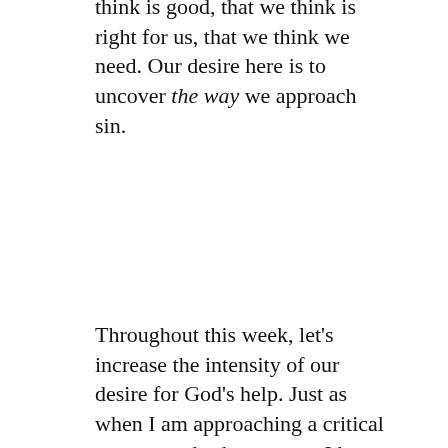think is good, that we think is right for us, that we think we need. Our desire here is to uncover the way we approach sin.
Throughout this week, let's increase the intensity of our desire for God's help. Just as when I am approaching a critical surgery and ask everyone I know to pray for me, I might turn to loved ones who have died to ask them to intercede with the Lord for me, so that I might be given an